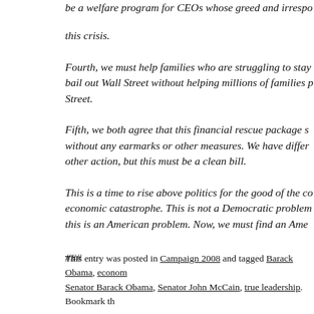be a welfare program for CEOs whose greed and irresponsibility caused this crisis.
Fourth, we must help families who are struggling to stay in their homes. We cannot bail out Wall Street without helping millions of families facing foreclosure on Main Street.
Fifth, we both agree that this financial rescue package should be passed immediately without any earmarks or other measures. We have differences on what other action, but this must be a clean bill.
This is a time to rise above politics for the good of the country. We cannot risk an economic catastrophe. This is not a Democratic problem or a Republican problem — this is an American problem. Now, we must find an American solution.
###
This entry was posted in Campaign 2008 and tagged Barack Obama, economy, Senator Barack Obama, Senator John McCain, true leadership. Bookmark th…